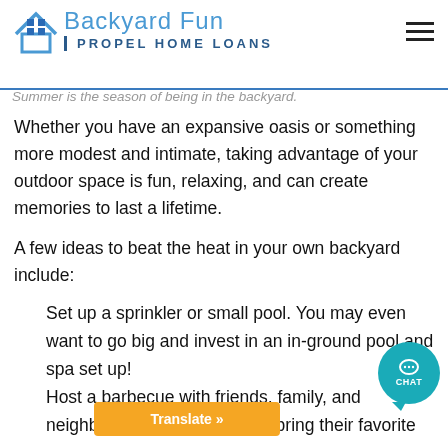Backyard Fun — Propel Home Loans
Summer is the season of being in the backyard.
Whether you have an expansive oasis or something more modest and intimate, taking advantage of your outdoor space is fun, relaxing, and can create memories to last a lifetime.
A few ideas to beat the heat in your own backyard include:
Set up a sprinkler or small pool. You may even want to go big and invest in an in-ground pool and spa set up!
Host a barbecue with friends, family, and neighbors. Inv... bring their favorite sum...